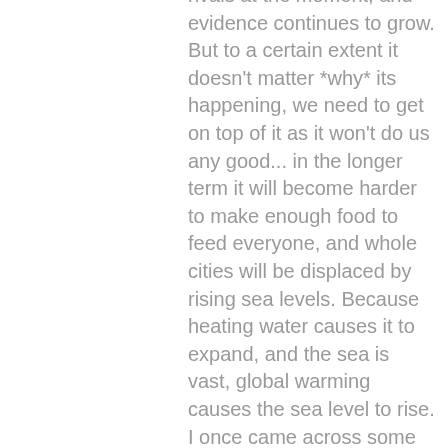rivals at the moment, and evidence continues to grow. But to a certain extent it doesn't matter *why* its happening, we need to get on top of it as it won't do us any good... in the longer term it will become harder to make enough food to feed everyone, and whole cities will be displaced by rising sea levels. Because heating water causes it to expand, and the sea is vast, global warming causes the sea level to rise. I once came across some of the data from a satellite measuring sea levels. It measures accurately enough